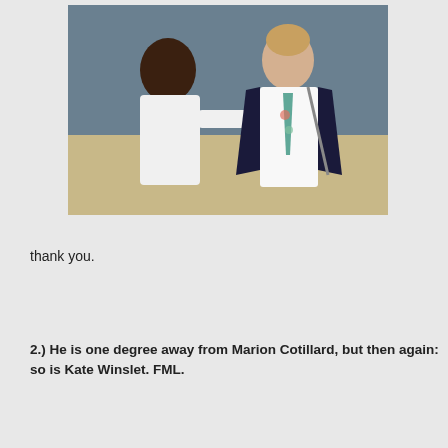[Figure (photo): Two men in a scene from a movie: one man in a white shirt reaching toward the other man who is wearing a white dress shirt open at the collar with a floral tie and a dark blazer held open.]
thank you.
2.) He is one degree away from Marion Cotillard, but then again: so is Kate Winslet. FML.